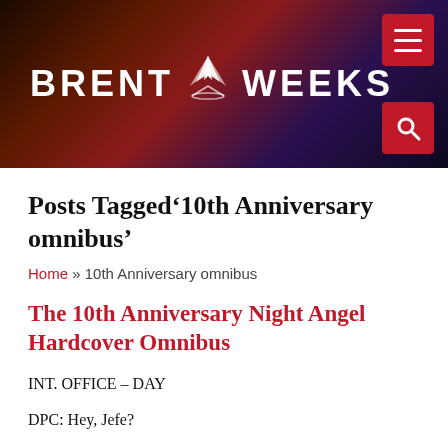BRENT WEEKS
Posts Tagged‘10th Anniversary omnibus’
Home » 10th Anniversary omnibus
The 10th Anniversary Night Angel Hardcover Omnibus
INT. OFFICE – DAY
DPC: Hey, Jefe?
JEFF: (typing intently, not looking away from